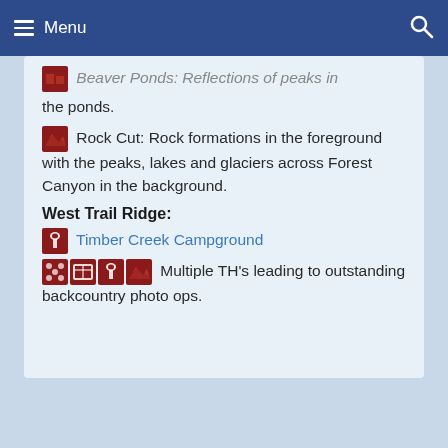Menu
Beaver Ponds: Reflections of peaks in the ponds.
Rock Cut: Rock formations in the foreground with the peaks, lakes and glaciers across Forest Canyon in the background.
West Trail Ridge:
Timber Creek Campground
Multiple TH's leading to outstanding backcountry photo ops.